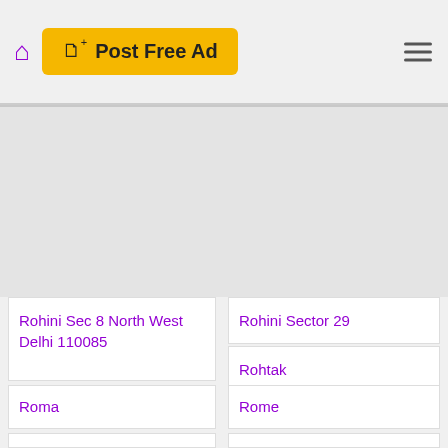Post Free Ad
[Figure (other): Large gray empty content area, likely an advertisement or image placeholder]
Rohini Sec 8 North West Delhi 110085
Rohini Sector 29
Rohtak
Roma
Rome